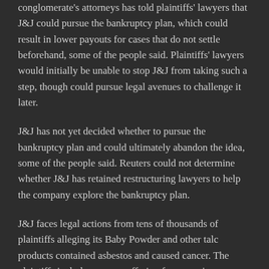conglomerate's attorneys has told plaintiffs' lawyers that J&J could pursue the bankruptcy plan, which could result in lower payouts for cases that do not settle beforehand, some of the people said. Plaintiffs' lawyers would initially be unable to stop J&J from taking such a step, though could pursue legal avenues to challenge it later.
J&J has not yet decided whether to pursue the bankruptcy plan and could ultimately abandon the idea, some of the people said. Reuters could not determine whether J&J has retained restructuring lawyers to help the company explore the bankruptcy plan.
J&J faces legal actions from tens of thousands of plaintiffs alleging its Baby Powder and other talc products contained asbestos and caused cancer. The plaintiffs include women suffering from ovarian cancer and others battling mesothelioma.